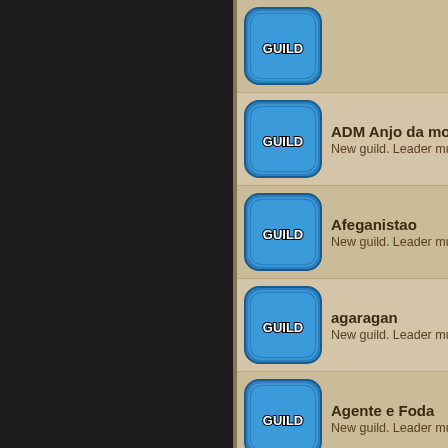[Figure (screenshot): Game guild listing UI. Left side is dark panel. Right side shows a list of guilds with blue guild icons and names/descriptions on a tan/beige background.]
Guild icon (partial, top)
ADM Anjo da morte - New guild. Leader must
Afeganistao - New guild. Leader must
agaragan - New guild. Leader must
Agente e Foda - New guild. Leader must
AGUA DA MORTE - New guild. Leader must
AIN AIN BOTA BOTA B - New guild. Leader must